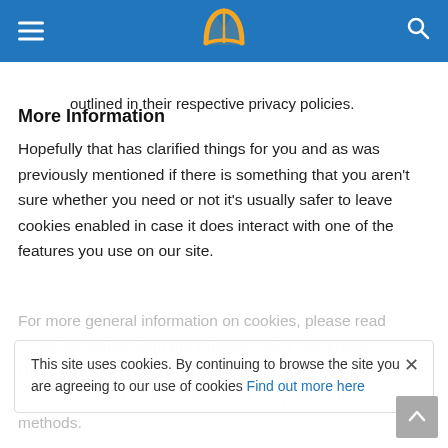Navigation header with logo
outlined in their respective privacy policies.
More Information
Hopefully that has clarified things for you and as was previously mentioned if there is something that you aren't sure whether you need or not it's usually safer to leave cookies enabled in case it does interact with one of the features you use on our site.
For more general information on cookies, please read "Cookies" article from the Privacy Policy Generator. However if you are still looking for more information then you can contact us through one of our preferred contact methods.
This site uses cookies. By continuing to browse the site you are agreeing to our use of cookies Find out more here